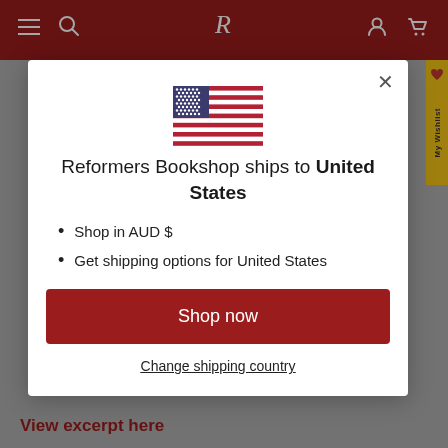[Figure (screenshot): Red navigation bar of Reformers Bookshop website with hamburger menu, R logo, search and cart icons]
[Figure (illustration): US flag SVG icon centered in modal]
Reformers Bookshop ships to United States
Shop in AUD $
Get shipping options for United States
Shop now
Change shipping country
View excerpt here